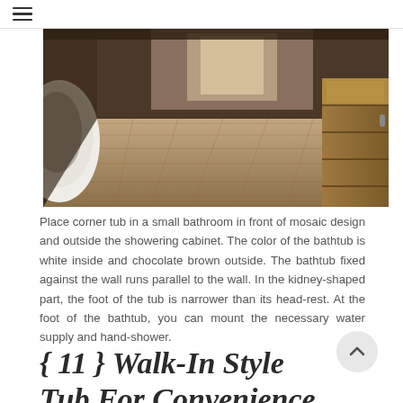≡
[Figure (photo): Bathroom interior with wood plank flooring and a white corner tub visible on the left side. Wooden cabinetry is visible on the right side. The space has dark walls and a long corridor-like layout.]
Place corner tub in a small bathroom in front of mosaic design and outside the showering cabinet. The color of the bathtub is white inside and chocolate brown outside. The bathtub fixed against the wall runs parallel to the wall. In the kidney-shaped part, the foot of the tub is narrower than its head-rest. At the foot of the bathtub, you can mount the necessary water supply and hand-shower.
{ 11 } Walk-In Style Tub For Convenience